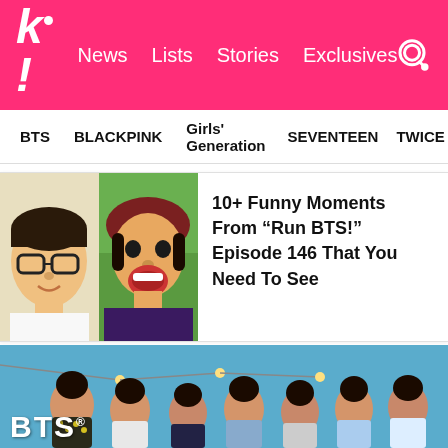k! News Lists Stories Exclusives
BTS
BLACKPINK
Girls' Generation
SEVENTEEN
TWICE
[Figure (photo): Two BTS members from Run BTS episode 146, one wearing glasses, one with mouth open wide laughing]
10+ Funny Moments From “Run BTS!” Episode 146 That You Need To See
[Figure (photo): Group photo of all 7 BTS members posed against a blue sky background with string lights, wearing casual summer outfits. BTS logo text visible at bottom left.]